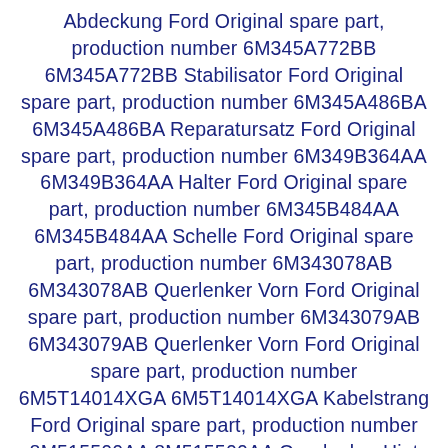Abdeckung Ford Original spare part, production number 6M345A772BB 6M345A772BB Stabilisator Ford Original spare part, production number 6M345A486BA 6M345A486BA Reparatursatz Ford Original spare part, production number 6M349B364AA 6M349B364AA Halter Ford Original spare part, production number 6M345B484AA 6M345B484AA Schelle Ford Original spare part, production number 6M343078AB 6M343078AB Querlenker Vorn Ford Original spare part, production number 6M343079AB 6M343079AB Querlenker Vorn Ford Original spare part, production number 6M5T14014XGA 6M5T14014XGA Kabelstrang Ford Original spare part, production number 8M515500AA 8M515500AA Querlenker Hint Ford Original